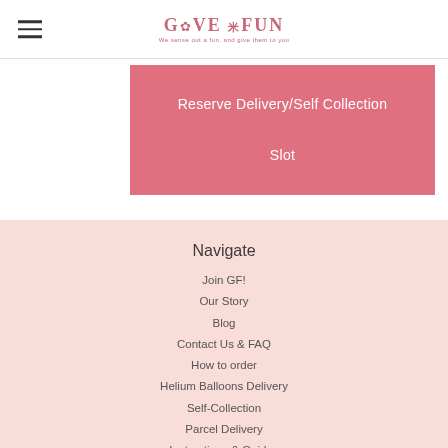Give Fun - We sense out a fun, and give them to you
Reserve Delivery/Self Collection Slot
Navigate
Join GF!
Our Story
Blog
Contact Us & FAQ
How to order
Helium Balloons Delivery
Self-Collection
Parcel Delivery
Instructions & Guides